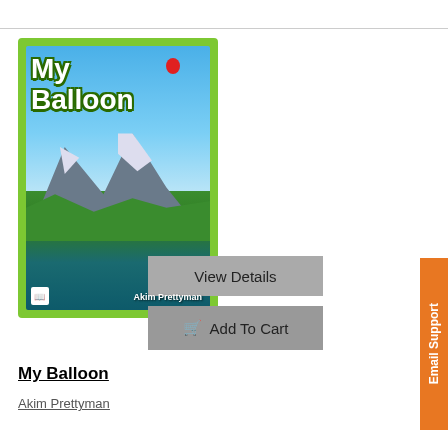[Figure (illustration): Book cover for 'My Balloon' by Akim Prettyman. Green border frame around a cover showing a mountain landscape with blue sky, a small red balloon, green hills, trees, and a lake. Title 'My Balloon' in large white text with dark green outline. Author name 'Akim Prettyman' at bottom right of cover.]
View Details
Add To Cart
My Balloon
Akim Prettyman
Email Support